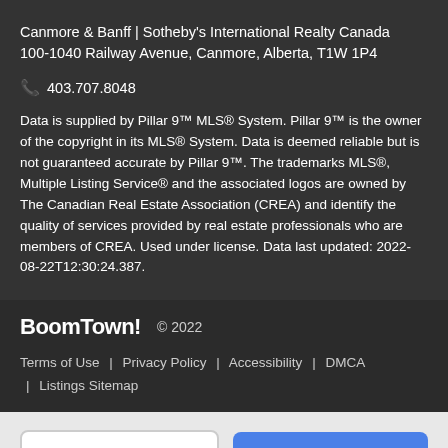Canmore & Banff | Sotheby's International Realty Canada
100-1040 Railway Avenue, Canmore, Alberta, T1W 1P4
📞 403.707.8048
Data is supplied by Pillar 9™ MLS® System. Pillar 9™ is the owner of the copyright in its MLS® System. Data is deemed reliable but is not guaranteed accurate by Pillar 9™. The trademarks MLS®, Multiple Listing Service® and the associated logos are owned by The Canadian Real Estate Association (CREA) and identify the quality of services provided by real estate professionals who are members of CREA. Used under license. Data last updated: 2022-08-22T12:30:24.387.
BoomTown!   © 2022
Terms of Use  |  Privacy Policy  |  Accessibility  |  DMCA  |  Listings Sitemap
Take a Tour
Ask A Question